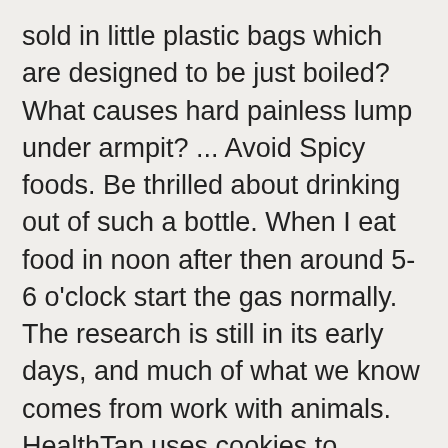sold in little plastic bags which are designed to be just boiled? What causes hard painless lump under armpit? ... Avoid Spicy foods. Be thrilled about drinking out of such a bottle. When I eat food in noon after then around 5-6 o'clock start the gas normally. The research is still in its early days, and much of what we know comes from work with animals. HealthTap uses cookies to enhance your site experience and for analytics and advertising purposes. it's happening since last 2-3 years. Just be careful next time, like other INERT substances will usually pass out unchanged in the bowel movements. For about a week, I burped a lot, and the burps tasted like styrofoam, but it didn't seem to have any permanent effect. Her control mice — the healthy ones — started developing the sorts of genetically abnormal eggs that can lead to miscarriages and birth defects. I suppose if you ate a couple of pounds of it, it could have some negative effect on you. Many women used DES until the early 1970s